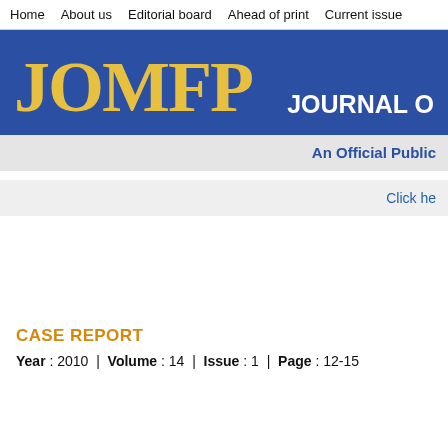Home   About us   Editorial board   Ahead of print   Current issue
[Figure (logo): JOMFP journal header banner with blue background, yellow JOMFP logo text on left, white 'JOURNAL O...' text on right]
An Official Public
Click he
CASE REPORT
Year : 2010  |  Volume : 14  |  Issue : 1  |  Page : 12-15